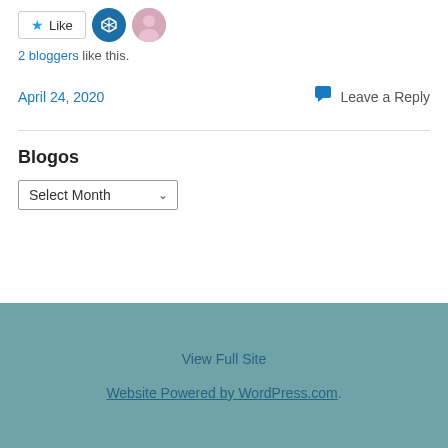[Figure (screenshot): Like button with star icon and two blogger avatars (circular avatar with logo and a photo)]
2 bloggers like this.
April 24, 2020
Leave a Reply
Blogos
[Figure (screenshot): Select Month dropdown widget]
View Full Site
Website Powered by WordPress.com.